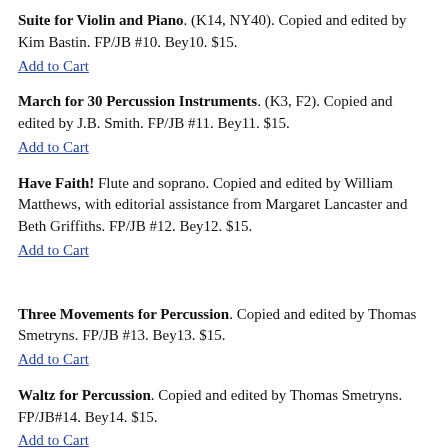Suite for Violin and Piano. (K14, NY40). Copied and edited by Kim Bastin. FP/JB #10. Bey10. $15. Add to Cart
March for 30 Percussion Instruments. (K3, F2). Copied and edited by J.B. Smith. FP/JB #11. Bey11. $15. Add to Cart
Have Faith! Flute and soprano. Copied and edited by William Matthews, with editorial assistance from Margaret Lancaster and Beth Griffiths. FP/JB #12. Bey12. $15. Add to Cart
Three Movements for Percussion. Copied and edited by Thomas Smetryns. FP/JB #13. Bey13. $15. Add to Cart
Waltz for Percussion. Copied and edited by Thomas Smetryns. FP/JB#14. Bey14. $15. Add to Cart
Percussion Opus 14. Copied and edited by Thomas Smetryns. FP/JB#15. Bey15. $15.